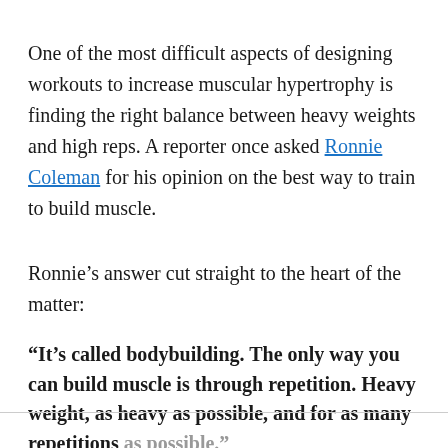One of the most difficult aspects of designing workouts to increase muscular hypertrophy is finding the right balance between heavy weights and high reps. A reporter once asked Ronnie Coleman for his opinion on the best way to train to build muscle.
Ronnie's answer cut straight to the heart of the matter:
“It’s called bodybuilding. The only way you can build muscle is through repetition. Heavy weight, as heavy as possible, and for as many repetitions as possible.”